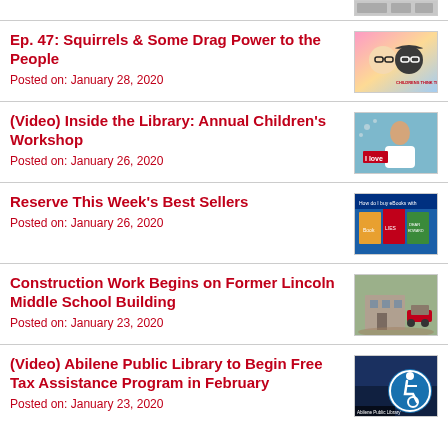Ep. 47: Squirrels & Some Drag Power to the People
Posted on: January 28, 2020
(Video) Inside the Library: Annual Children's Workshop
Posted on: January 26, 2020
Reserve This Week's Best Sellers
Posted on: January 26, 2020
Construction Work Begins on Former Lincoln Middle School Building
Posted on: January 23, 2020
(Video) Abilene Public Library to Begin Free Tax Assistance Program in February
Posted on: January 23, 2020